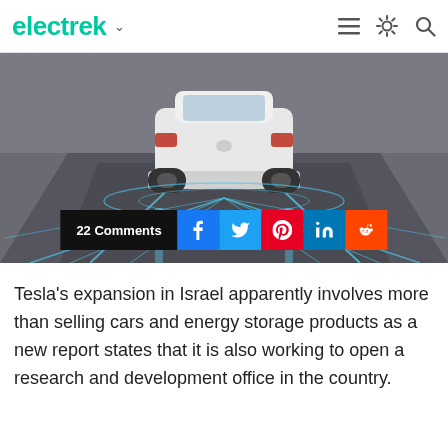electrek
[Figure (photo): Rear view of a white Tesla car on a road with blue autonomous driving sensor visualization lines radiating around it]
22 Comments
Tesla's expansion in Israel apparently involves more than selling cars and energy storage products as a new report states that it is also working to open a research and development office in the country.